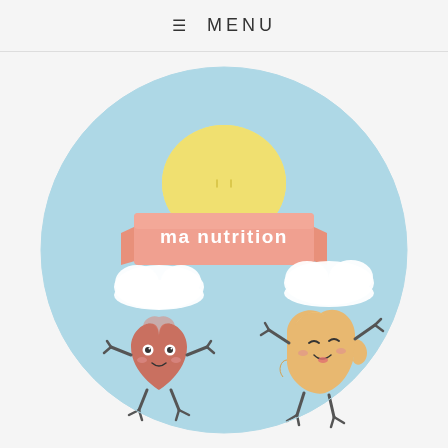≡ MENU
[Figure (logo): Circular logo for 'Ma Nutrition' website featuring a light blue sky background with a yellow sun at the top, a salmon/coral ribbon banner reading 'ma nutrition' in white text, two white clouds on either side, a kawaii-style heart character on the left and a kawaii-style stomach character on the right, both with cute faces and stick limbs.]